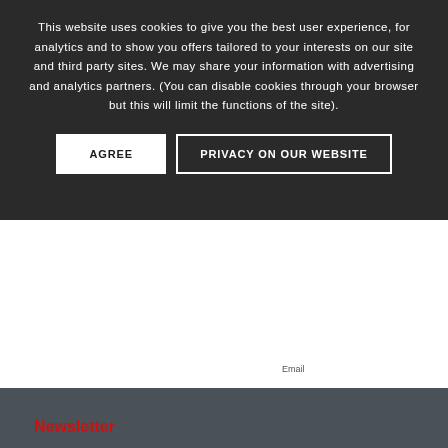This website uses cookies to give you the best user experience, for analytics and to show you offers tailored to your interests on our site and third party sites. We may share your information with advertising and analytics partners. (You can disable cookies through your browser but this will limit the functions of the site).
AGREE
PRIVACY ON OUR WEBSITE
Name
Post Comment
Email
Newsletter